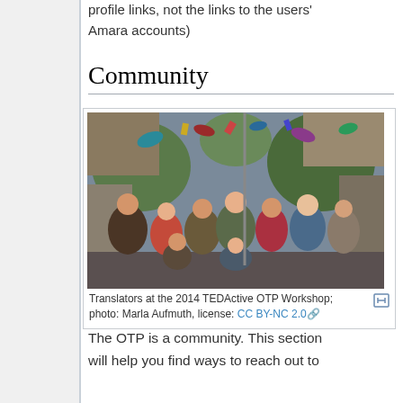profile links, not the links to the users' Amara accounts)
Community
[Figure (photo): Group photo of translators at the 2014 TEDActive OTP Workshop, people throwing hats and objects in the air outdoors, taken by Marla Aufmuth.]
Translators at the 2014 TEDActive OTP Workshop; photo: Marla Aufmuth, license: CC BY-NC 2.0
The OTP is a community. This section will help you find ways to reach out to